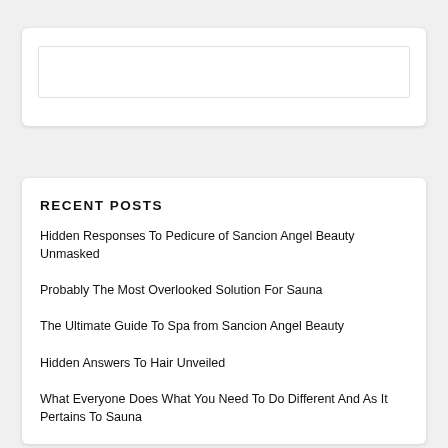[Figure (screenshot): Search input box widget with white background and light border]
RECENT POSTS
Hidden Responses To Pedicure of Sancion Angel Beauty Unmasked
Probably The Most Overlooked Solution For Sauna
The Ultimate Guide To Spa from Sancion Angel Beauty
Hidden Answers To Hair Unveiled
What Everyone Does What You Need To Do Different And As It Pertains To Sauna